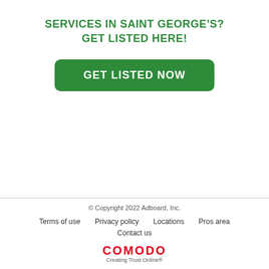SERVICES IN SAINT GEORGE'S?
GET LISTED HERE!
GET LISTED NOW
© Copyright 2022 Adboard, Inc.
Terms of use   Privacy policy   Locations   Pros area   Contact us
COMODO Creating Trust Online®